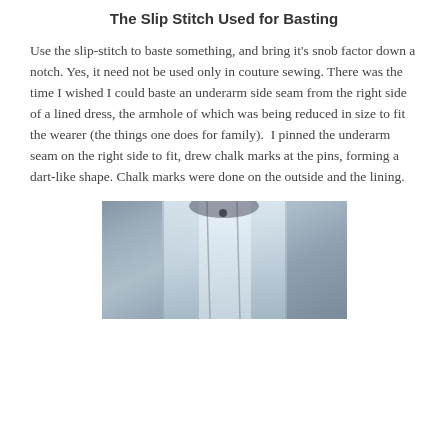The Slip Stitch Used for Basting
Use the slip-stitch to baste something, and bring it's snob factor down a notch. Yes, it need not be used only in couture sewing. There was the time I wished I could baste an underarm side seam from the right side of a lined dress, the armhole of which was being reduced in size to fit the wearer (the things one does for family).  I pinned the underarm seam on the right side to fit, drew chalk marks at the pins, forming a dart-like shape. Chalk marks were done on the outside and the lining.
[Figure (photo): Close-up photograph of a blue-grey lined dress showing the underarm seam area with chalk marks and pinning]